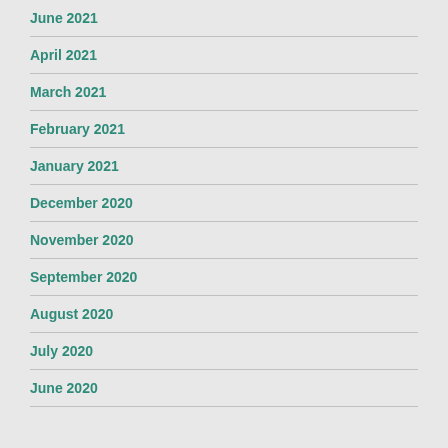June 2021
April 2021
March 2021
February 2021
January 2021
December 2020
November 2020
September 2020
August 2020
July 2020
June 2020